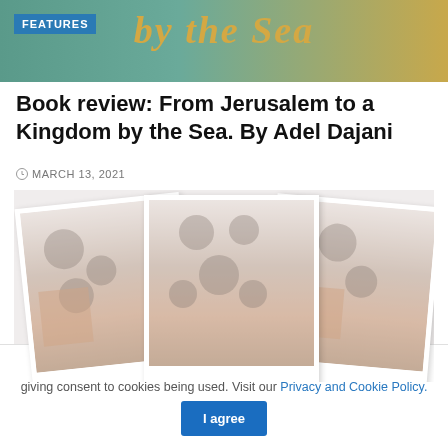[Figure (photo): Banner image showing a teal/green and gold background with text 'by the Sea' and a blue FEATURES badge overlay]
Book review: From Jerusalem to a Kingdom by the Sea. By Adel Dajani
MARCH 13, 2021
[Figure (photo): Three overlapping polaroid-style photographs showing groups of African people, faded/washed out appearance]
This website uses cookies. By continuing to use this website you are giving consent to cookies being used. Visit our Privacy and Cookie Policy.
I agree